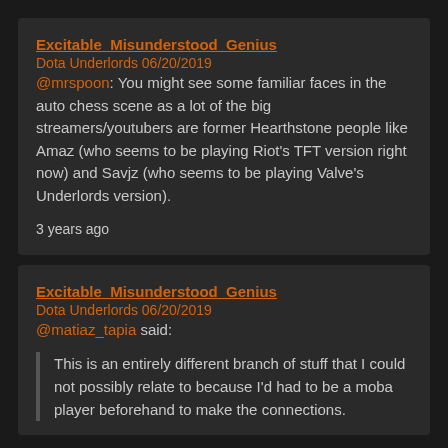Excitable_Misunderstood_Genius
Dota Underlords 06/20/2019
@mrspoon: You might see some familiar faces in the auto chess scene as a lot of the big streamers/youtubers are former Hearthstone people like Amaz (who seems to be playing Riot's TFT version right now) and Savjz (who seems to be playing Valve's Underlords version).
3 years ago
Excitable_Misunderstood_Genius
Dota Underlords 06/20/2019
@matiaz_tapia said:
This is an entirely different branch of stuff that I could not possibly relate to because I'd had to be a moba player beforehand to make the connections.